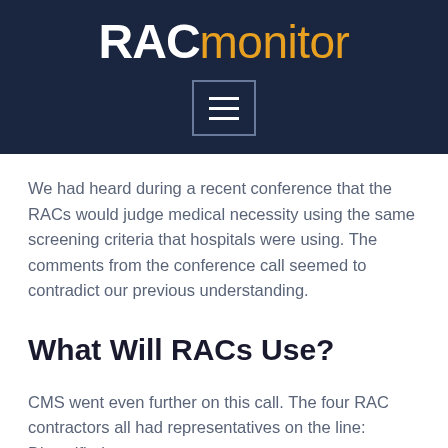RAC monitor
We had heard during a recent conference that the RACs would judge medical necessity using the same screening criteria that hospitals were using. The comments from the conference call seemed to contradict our previous understanding.
What Will RACs Use?
CMS went even further on this call. The four RAC contractors all had representatives on the line: Diversified